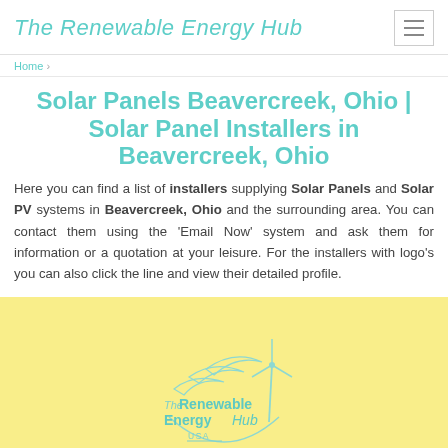The Renewable Energy Hub
Home >
Solar Panels Beavercreek, Ohio | Solar Panel Installers in Beavercreek, Ohio
Here you can find a list of installers supplying Solar Panels and Solar PV systems in Beavercreek, Ohio and the surrounding area. You can contact them using the 'Email Now' system and ask them for information or a quotation at your leisure. For the installers with logo's you can also click the line and view their detailed profile.
[Figure (logo): The Renewable Energy Hub USA logo with wind turbine and leaf graphic in teal/mint color on yellow background]